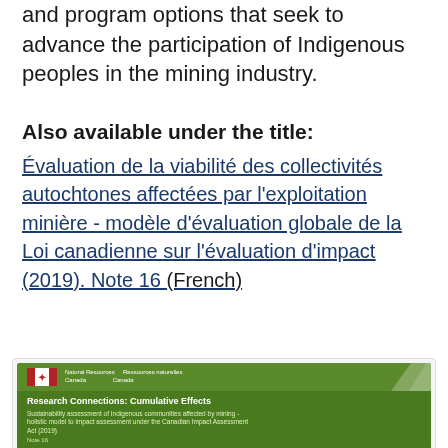and program options that seek to advance the participation of Indigenous peoples in the mining industry.
Also available under the title:
Évaluation de la viabilité des collectivités autochtones affectées par l'exploitation minière - modèle d'évaluation globale de la Loi canadienne sur l'évaluation d'impact (2019). Note 16 (French)
[Figure (screenshot): Cover image of a Natural Resources Canada publication titled 'Research Connections: Cumulative Effects — Sustainability assessment of Indigenous communities affected by mining - holistic model to impact assessment under the Canadian Impact Assessment Act (2019), Note 16', shown on a green background with the Government of Canada logo.]